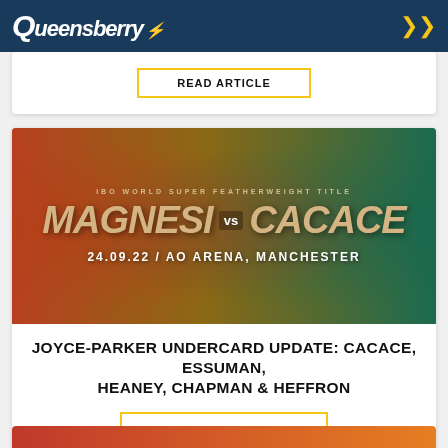Queensberry
[Figure (photo): Event promotional image for Magnesi vs Cacace, IBO World Super Featherweight Title fight on 24.09.22 at AO Arena, Manchester]
JOYCE-PARKER UNDERCARD UPDATE: CACACE, ESSUMAN, HEANEY, CHAPMAN & HEFFRON
READ ARTICLE